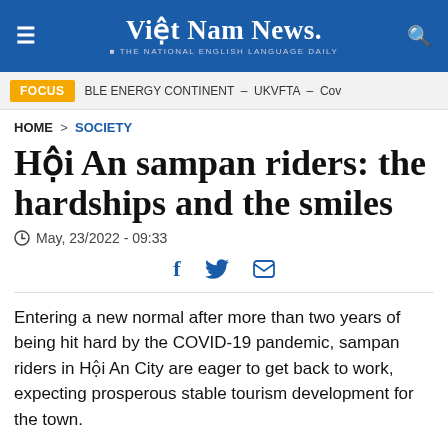Việt Nam News. THE NATIONAL ENGLISH LANGUAGE DAILY
FOCUS  BLE ENERGY CONTINENT – UKVFTA – Cov
HOME > SOCIETY
Hội An sampan riders: the hardships and the smiles
May, 23/2022 - 09:33
Entering a new normal after more than two years of being hit hard by the COVID-19 pandemic, sampan riders in Hội An City are eager to get back to work, expecting prosperous stable tourism development for the town.